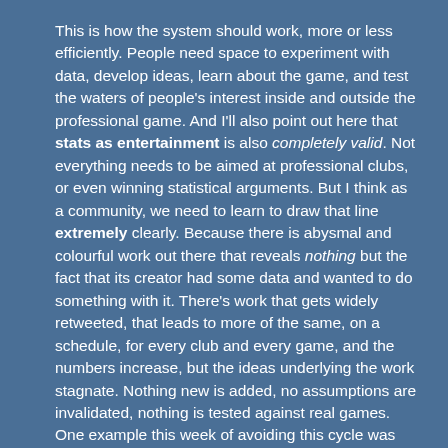This is how the system should work, more or less efficiently. People need space to experiment with data, develop ideas, learn about the game, and test the waters of people's interest inside and outside the professional game. And I'll also point out here that stats as entertainment is also completely valid. Not everything needs to be aimed at professional clubs, or even winning statistical arguments. But I think as a community, we need to learn to draw that line extremely clearly. Because there is abysmal and colourful work out there that reveals nothing but the fact that its creator had some data and wanted to do something with it. There's work that gets widely retweeted, that leads to more of the same, on a schedule, for every club and every game, and the numbers increase, but the ideas underlying the work stagnate. Nothing new is added, no assumptions are invalidated, nothing is tested against real games. One example this week of avoiding this cycle was Sander exploring some centrality measures from graph theory in his passing charts (already the most controversial visualisation in football analytics). I know some people haven't worked out the mute buttons on their Twitter clients and post game viz can clog...